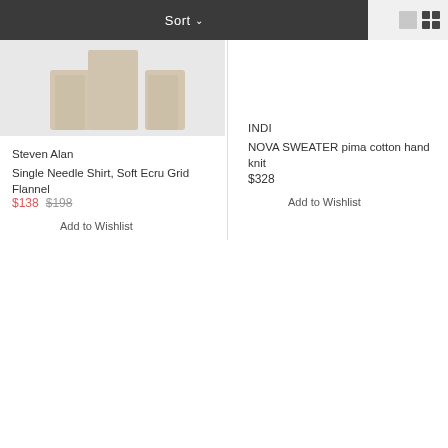Sort ↓
[Figure (photo): Partial product image of a flannel shirt in ecru/beige tones on a light grey background]
Steven Alan
Single Needle Shirt, Soft Ecru Grid Flannel
$138  $198
Add to Wishlist
INDI
NOVA SWEATER pima cotton hand knit
$328
Add to Wishlist